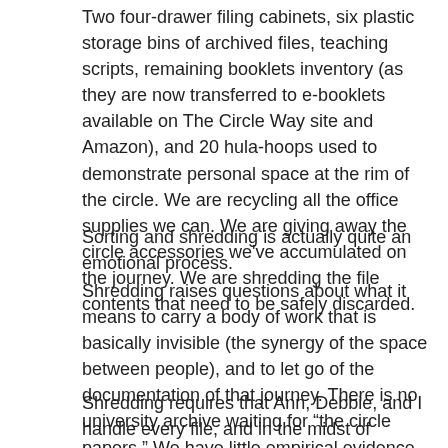Two four-drawer filing cabinets, six plastic storage bins of archived files, teaching scripts, remaining booklets inventory (as they are now transferred to e-booklets available on The Circle Way site and Amazon), and 20 hula-hoops used to demonstrate personal space at the rim of the circle. We are recycling all the office supplies we can. We are giving away the circle accessories we've accumulated on the journey. We are shredding the file contents that need to be safely discarded.
Sorting and shredding is actually quite an emotional process.
Shredding raises questions about what it means to carry a body of work that is basically invisible (the synergy of the space between people), and to let go of the documentation of that journey. There is no university archive waiting for “the circle papers.” We have little empirical evidence, just change of heart evidence.
Shredding requires that Ann, Debbie, and I handle every file, and in the midst of sentimental recollections, let it go. “Oh look, here is where we met Sarah, David, Holger,